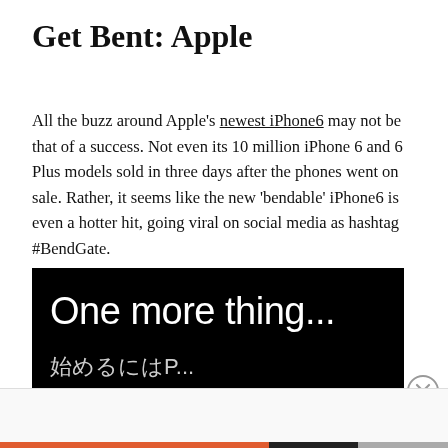Get Bent: Apple
All the buzz around Apple’s newest iPhone6 may not be that of a success. Not even its 10 million iPhone 6 and 6 Plus models sold in three days after the phones went on sale. Rather, it seems like the new ‘bendable’ iPhone6 is even a hotter hit, going viral on social media as hashtag #BendGate.
[Figure (screenshot): Black background image with white text reading 'One more thing...' and partial subtitle text below, resembling an Apple presentation slide.]
Cookieを使用して Cookieを受け入れることで、訪問者のエクスペリエンスを向上させ、Cookieを推屨します。ウェブサイトの Cookie の使用に履歴するには Cookie 設定を